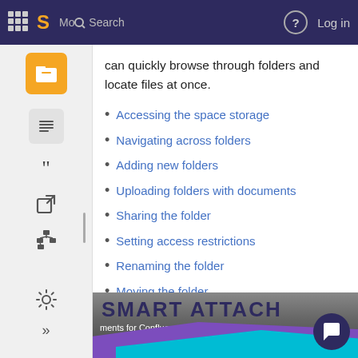More  Search  Log in
can quickly browse through folders and locate files at once.
Accessing the space storage
Navigating across folders
Adding new folders
Uploading folders with documents
Sharing the folder
Setting access restrictions
Renaming the folder
Moving the folder
Downloading the folder
Deleting the folder
[Figure (screenshot): Smart Attach for Confluence banner image with 'SMART ATTACH' bold dark blue title, subtitle 'ments for Confluence - Uploading fold', 'DOCUMENT MANAGEMENT' in orange bold, purple geometric shapes below.]